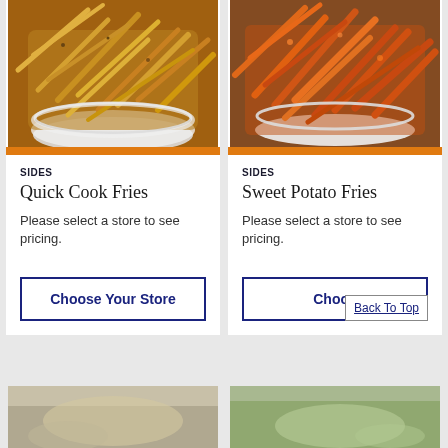[Figure (photo): Bowl of Quick Cook Fries (thin golden fries)]
SIDES
Quick Cook Fries
Please select a store to see pricing.
[Figure (photo): Bowl of Sweet Potato Fries (orange sweet potato fries)]
SIDES
Sweet Potato Fries
Please select a store to see pricing.
Choose Your Store
Choose Your Store
Back To Top
[Figure (photo): Partial bottom image - food item left]
[Figure (photo): Partial bottom image - food item right]